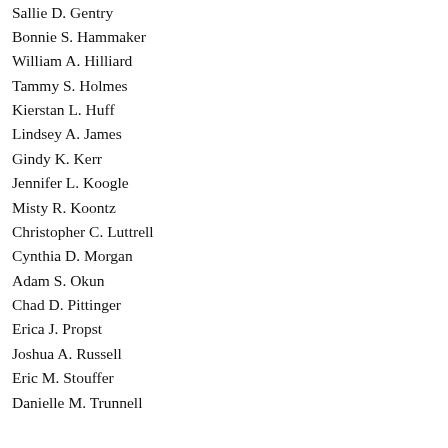Sallie D. Gentry
Bonnie S. Hammaker
William A. Hilliard
Tammy S. Holmes
Kierstan L. Huff
Lindsey A. James
Gindy K. Kerr
Jennifer L. Koogle
Misty R. Koontz
Christopher C. Luttrell
Cynthia D. Morgan
Adam S. Okun
Chad D. Pittinger
Erica J. Propst
Joshua A. Russell
Eric M. Stouffer
Danielle M. Trunnell